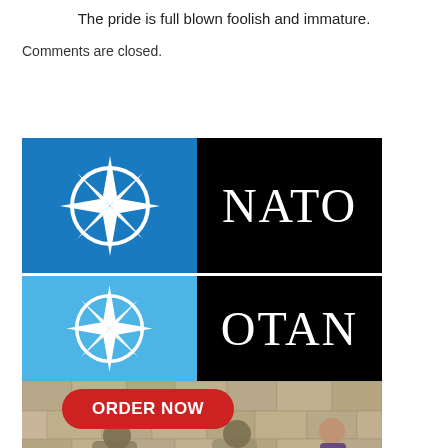The pride is full blown foolish and immature.
Comments are closed.
[Figure (infographic): NATO/OTAN logo composite image. Top half: blue square on left with white NATO compass star emblem, black square on right with white text 'NATO'. Horizontal white dividing line. Bottom of logo: lighter blue square on left with larger white compass star, black square on right with white text 'OTAN'. Below logo: red oval button with white bold text 'ORDER NOW' overlaid on a photograph of two military soldiers in desert camouflage crouching against a stone wall aiming weapons, with a young child peering from behind a wall in the background.]